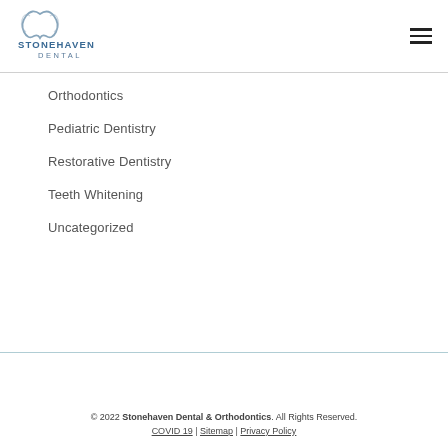[Figure (logo): Stonehaven Dental logo with stylized tooth/arch graphic above text]
Orthodontics
Pediatric Dentistry
Restorative Dentistry
Teeth Whitening
Uncategorized
© 2022 Stonehaven Dental & Orthodontics. All Rights Reserved. COVID 19 | Sitemap | Privacy Policy